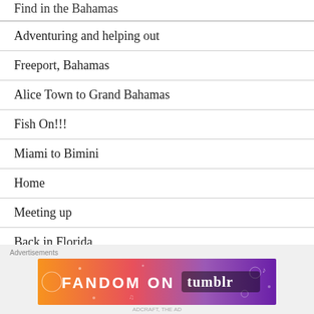Find in the Bahamas
Adventuring and helping out
Freeport, Bahamas
Alice Town to Grand Bahamas
Fish On!!!
Miami to Bimini
Home
Meeting up
Back in Florida
[Figure (infographic): Fandom on Tumblr advertisement banner with colorful orange to purple gradient background and white illustrated icons]
ADCRAFT, THE AD